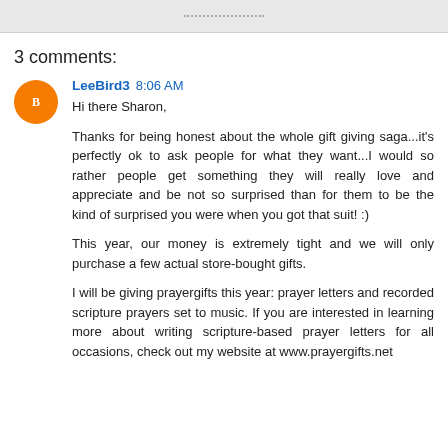[Figure (other): Gray top banner bar with dotted line decoration]
3 comments:
LeeBird3  8:06 AM

Hi there Sharon,

Thanks for being honest about the whole gift giving saga...it's perfectly ok to ask people for what they want...I would so rather people get something they will really love and appreciate and be not so surprised than for them to be the kind of surprised you were when you got that suit! :)

This year, our money is extremely tight and we will only purchase a few actual store-bought gifts.

I will be giving prayergifts this year: prayer letters and recorded scripture prayers set to music. If you are interested in learning more about writing scripture-based prayer letters for all occasions, check out my website at www.prayergifts.net